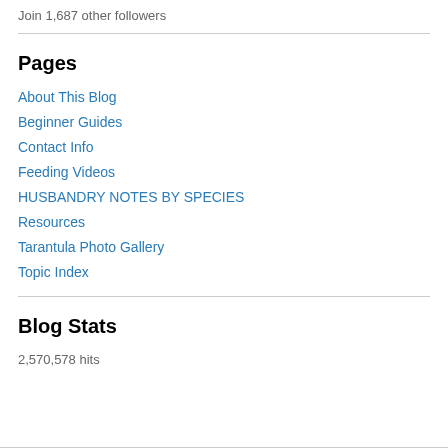Join 1,687 other followers
Pages
About This Blog
Beginner Guides
Contact Info
Feeding Videos
HUSBANDRY NOTES BY SPECIES
Resources
Tarantula Photo Gallery
Topic Index
Blog Stats
2,570,578 hits